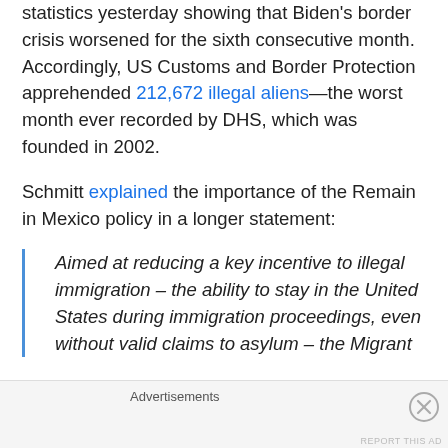statistics yesterday showing that Biden's border crisis worsened for the sixth consecutive month. Accordingly, US Customs and Border Protection apprehended 212,672 illegal aliens—the worst month ever recorded by DHS, which was founded in 2002.
Schmitt explained the importance of the Remain in Mexico policy in a longer statement:
Aimed at reducing a key incentive to illegal immigration – the ability to stay in the United States during immigration proceedings, even without valid claims to asylum – the Migrant
Advertisements